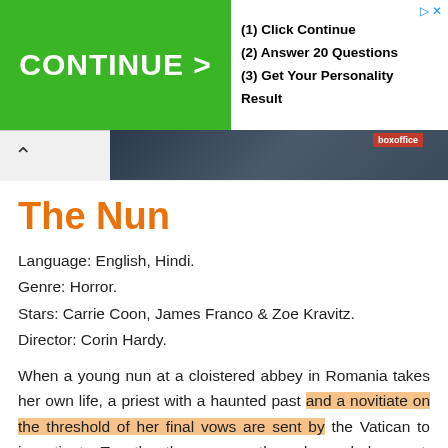[Figure (screenshot): Advertisement banner with green CONTINUE > button and steps: (1) Click Continue, (2) Answer 20 Questions, (3) Get Your Personality Result]
[Figure (photo): Dark thumbnail image strip with a nav chevron up arrow on the left]
The Nun
Language: English, Hindi.
Genre: Horror.
Stars: Carrie Coon, James Franco & Zoe Kravitz.
Director: Corin Hardy.
When a young nun at a cloistered abbey in Romania takes her own life, a priest with a haunted past and a novitiate on the threshold of her final vows are sent by the Vatican to investigate. Together they uncover the orders unholy secret. Risking not only their lives but their faith and their very souls, they confront a malevolent force in the form of the same demonic nun that first terrorized souls in The Conjuring 2.